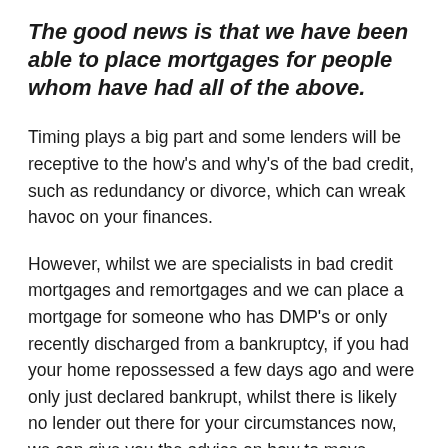The good news is that we have been able to place mortgages for people whom have had all of the above.
Timing plays a big part and some lenders will be receptive to the how's and why's of the bad credit, such as redundancy or divorce, which can wreak havoc on your finances.
However, whilst we are specialists in bad credit mortgages and remortgages and we can place a mortgage for someone who has DMP's or only recently discharged from a bankruptcy, if you had your home repossessed a few days ago and were only just declared bankrupt, whilst there is likely no lender out there for your circumstances now, we can give you the advice on how to move forward as quickly as